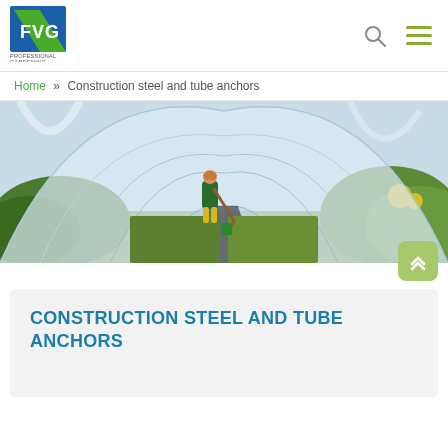[Figure (logo): FVG Professional Gardening logo — blue and green chevron/flag mark with text FVG and PROFESSIONAL GARDENING below]
Home » Construction steel and tube anchors
[Figure (photo): Interior view of a plastic polytunnel greenhouse with a woman in green apron and yellow boots working with a hoe among rows of growing vegetables and plants]
CONSTRUCTION STEEL AND TUBE ANCHORS